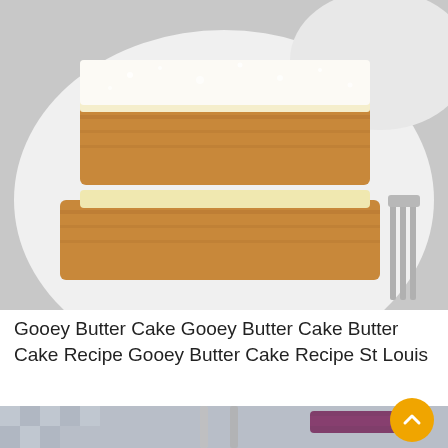[Figure (photo): Two square pieces of gooey butter cake dusted with powdered sugar stacked on a white plate, with a fork visible on the right side]
Gooey Butter Cake Gooey Butter Cake Butter Cake Recipe Gooey Butter Cake Recipe St Louis
[Figure (photo): Partial view of a second food photo below, showing cutlery and a purple cloth on a checkered surface, partially cropped]